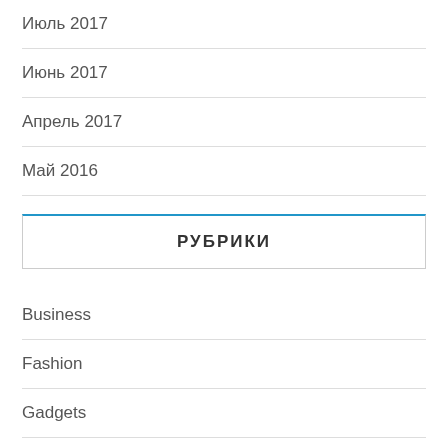Июль 2017
Июнь 2017
Апрель 2017
Май 2016
РУБРИКИ
Business
Fashion
Gadgets
Health & Fitness